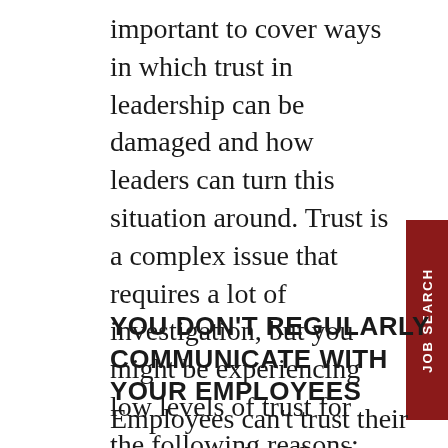important to cover ways in which trust in leadership can be damaged and how leaders can turn this situation around. Trust is a complex issue that requires a lot of investigation, but you might be experiencing low levels of trust for the following reasons:
YOU DON'T REGULARLY COMMUNICATE WITH YOUR EMPLOYEES
Employees can't trust their managers when they have no